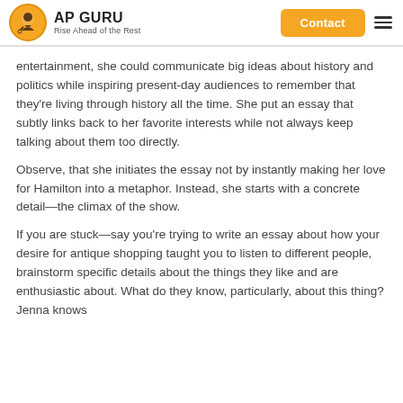AP GURU Rise Ahead of the Rest | Contact
entertainment, she could communicate big ideas about history and politics while inspiring present-day audiences to remember that they're living through history all the time. She put an essay that subtly links back to her favorite interests while not always keep talking about them too directly.
Observe, that she initiates the essay not by instantly making her love for Hamilton into a metaphor. Instead, she starts with a concrete detail—the climax of the show.
If you are stuck—say you're trying to write an essay about how your desire for antique shopping taught you to listen to different people, brainstorm specific details about the things they like and are enthusiastic about. What do they know, particularly, about this thing? Jenna knows